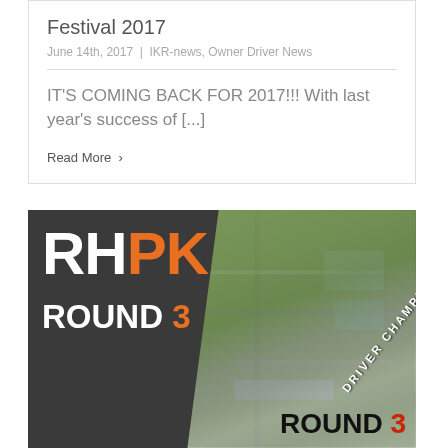Festival 2017
June 14th, 2017  |  IKR-news, Owner Driver News
IT'S COMING BACK FOR 2017!!! With last year's success of [...]
Read More >
[Figure (photo): RHPK Round 3 promotional banner image with dark background on the left showing 'RH' in white and 'PK' in orange large text, 'ROUND 3' below with '3' in orange, diagonal text reading 'DRIVER CHAMPIONSHIPS', and an aerial photo of a race circuit on the right half with 'ROUND 3' text at the bottom right with '3' in red.]